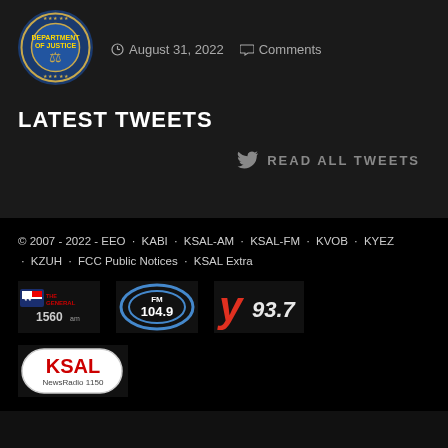[Figure (logo): Department of Justice seal / badge logo]
August 31, 2022   Comments
LATEST TWEETS
READ ALL TWEETS
© 2007 - 2022 - EEO · KABI · KSAL-AM · KSAL-FM · KVOB · KYEZ · KZUH · FCC Public Notices · KSAL Extra
[Figure (logo): The General 1560 radio station logo]
[Figure (logo): FM 104.9 radio station logo]
[Figure (logo): Y93.7 radio station logo]
[Figure (logo): KSAL NewsRadio 1150 logo]